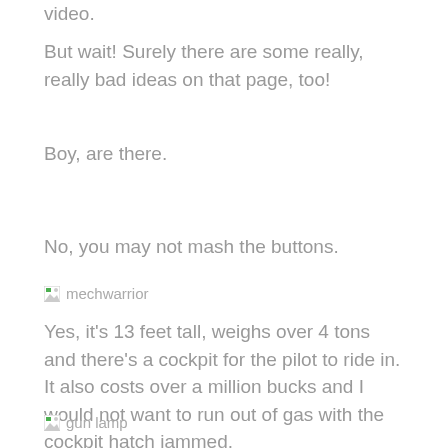video.
But wait! Surely there are some really, really bad ideas on that page, too!
Boy, are there.
No, you may not mash the buttons.
[Figure (photo): Broken/missing image placeholder labeled 'mechwarrior']
Yes, it's 13 feet tall, weighs over 4 tons and there's a cockpit for the pilot to ride in. It also costs over a million bucks and I would not want to run out of gas with the cockpit hatch jammed.
[Figure (photo): Broken/missing image placeholder labeled 'gun lamp']